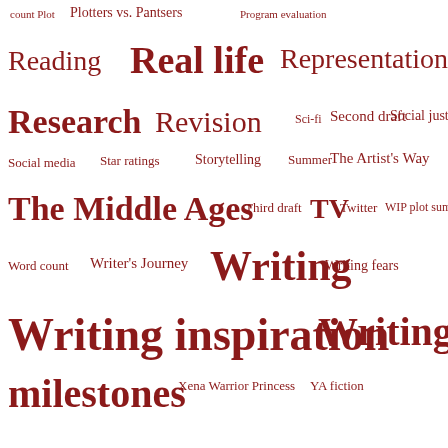[Figure (infographic): Tag cloud with writing-related topics in various font sizes, all in dark red color on white background. Topics include: count Plot, Plotters vs. Pantsers, Program evaluation, Reading, Real life, Representation, Research, Revision, Sci-fi, Second draft, Social justice, Social media, Star ratings, Storytelling, Summer, The Artist's Way, The Middle Ages, Third draft, TV, Twitter, WIP plot summary, Word count, Writer's Journey, Writing, Writing fears, Writing inspiration, Writing milestones, Xena Warrior Princess, YA fiction]